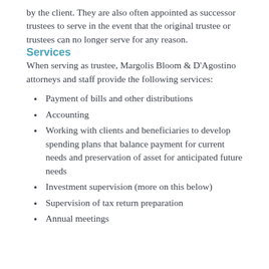by the client. They are also often appointed as successor trustees to serve in the event that the original trustee or trustees can no longer serve for any reason.
Services
When serving as trustee, Margolis Bloom & D'Agostino attorneys and staff provide the following services:
Payment of bills and other distributions
Accounting
Working with clients and beneficiaries to develop spending plans that balance payment for current needs and preservation of asset for anticipated future needs
Investment supervision (more on this below)
Supervision of tax return preparation
Annual meetings